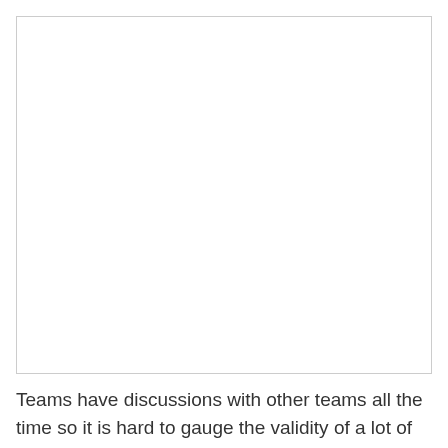[Figure (other): Large blank/white image area with a thin border]
Teams have discussions with other teams all the time so it is hard to gauge the validity of a lot of rumors.